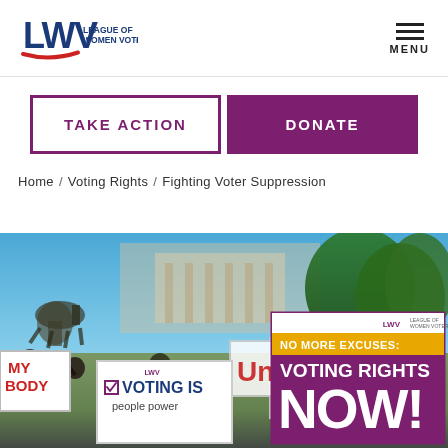[Figure (logo): League of Women Voters logo with LWV letters and red swoosh]
MENU
TAKE ACTION
DONATE
Home / Voting Rights / Fighting Voter Suppression
[Figure (photo): Outdoor protest rally with people holding signs including 'NO MORE EXCUSES: VOTING RIGHTS NOW!' and 'VOTING IS people power' signs with trees and buildings in background]